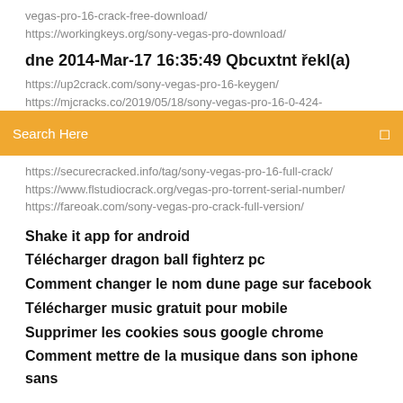vegas-pro-16-crack-free-download/
https://workingkeys.org/sony-vegas-pro-download/
dne 2014-Mar-17 16:35:49 Qbcuxtnt řekl(a)
https://up2crack.com/sony-vegas-pro-16-keygen/
https://mjcracks.co/2019/05/18/sony-vegas-pro-16-0-424-
Search Here
https://securecracked.info/tag/sony-vegas-pro-16-full-crack/
https://www.flstudiocrack.org/vegas-pro-torrent-serial-number/
https://fareoak.com/sony-vegas-pro-crack-full-version/
Shake it app for android
Télécharger dragon ball fighterz pc
Comment changer le nom dune page sur facebook
Télécharger music gratuit pour mobile
Supprimer les cookies sous google chrome
Comment mettre de la musique dans son iphone sans